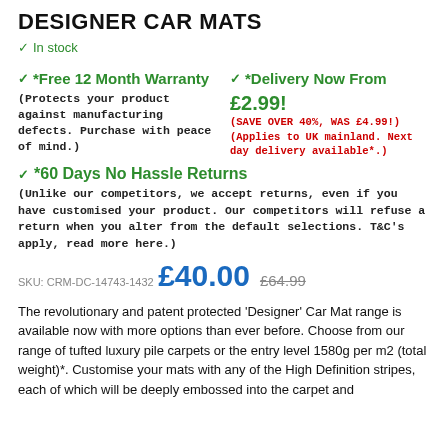DESIGNER CAR MATS
✓ In stock
✓ *Free 12 Month Warranty
(Protects your product against manufacturing defects. Purchase with peace of mind.)
✓ *Delivery Now From £2.99!
(SAVE OVER 40%, WAS £4.99!)
(Applies to UK mainland. Next day delivery available*.)
✓ *60 Days No Hassle Returns
(Unlike our competitors, we accept returns, even if you have customised your product. Our competitors will refuse a return when you alter from the default selections. T&C's apply, read more here.)
SKU: CRM-DC-14743-1432
£40.00  £64.99
The revolutionary and patent protected 'Designer' Car Mat range is available now with more options than ever before. Choose from our range of tufted luxury pile carpets or the entry level 1580g per m2 (total weight)*. Customise your mats with any of the High Definition stripes, each of which will be deeply embossed into the carpet and